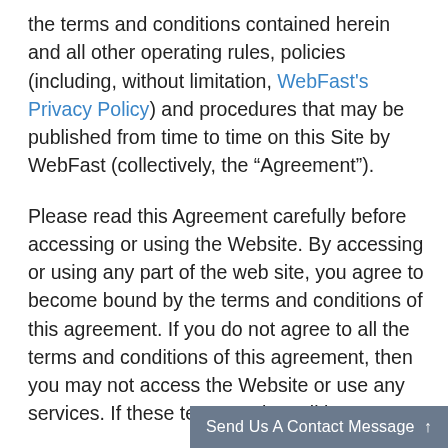the terms and conditions contained herein and all other operating rules, policies (including, without limitation, WebFast's Privacy Policy) and procedures that may be published from time to time on this Site by WebFast (collectively, the “Agreement”).
Please read this Agreement carefully before accessing or using the Website. By accessing or using any part of the web site, you agree to become bound by the terms and conditions of this agreement. If you do not agree to all the terms and conditions of this agreement, then you may not access the Website or use any services. If these terms and condition
Send Us A Contact Message ↑